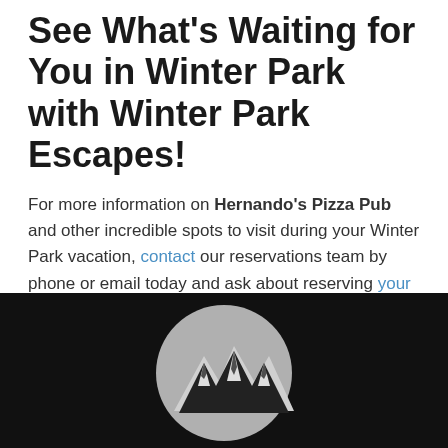See What's Waiting for You in Winter Park with Winter Park Escapes!
For more information on Hernando's Pizza Pub and other incredible spots to visit during your Winter Park vacation, contact our reservations team by phone or email today and ask about reserving your stay with us!
[Figure (logo): Winter Park Escapes logo — a circular grey medallion with a stylized mountain range silhouette in black and white, on a black background footer.]